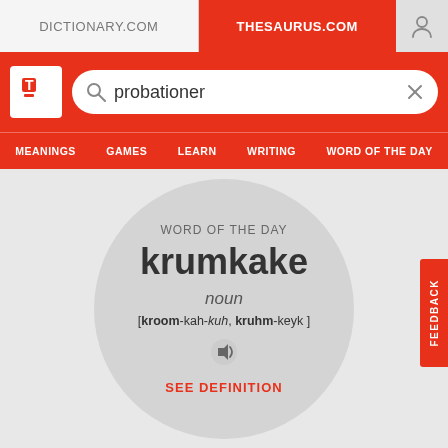DICTIONARY.COM | THESAURUS.COM
[Figure (screenshot): Thesaurus.com website screenshot showing search bar with 'probationer', navigation menu with MEANINGS, GAMES, LEARN, WRITING, WORD OF THE DAY, and a Word of the Day card for 'krumkake']
WORD OF THE DAY
krumkake
noun
[kroom-kah-kuh, kruhm-keyk ]
SEE DEFINITION